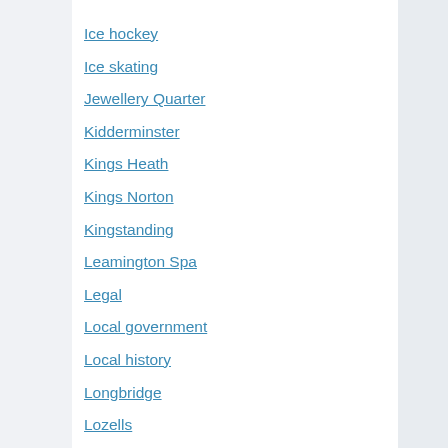Ice hockey
Ice skating
Jewellery Quarter
Kidderminster
Kings Heath
Kings Norton
Kingstanding
Leamington Spa
Legal
Local government
Local history
Longbridge
Lozells
Manufacturing
Media
Medicine